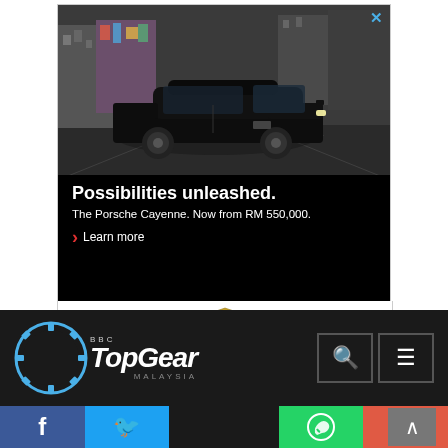[Figure (photo): Porsche Cayenne advertisement banner showing a black SUV driving on a road with city buildings in the background. Text reads: 'Possibilities unleashed. The Porsche Cayenne. Now from RM 550,000. Learn more' with Porsche crest logo at bottom.]
[Figure (logo): BBC Top Gear Malaysia logo in white text with circular gear emblem on dark navbar background. Search and menu icons on the right.]
[Figure (infographic): Social sharing bar at bottom with Facebook (blue), Twitter (light blue), WhatsApp (green), and plus/more (orange-red) buttons. Scroll-to-top arrow button in dark grey.]